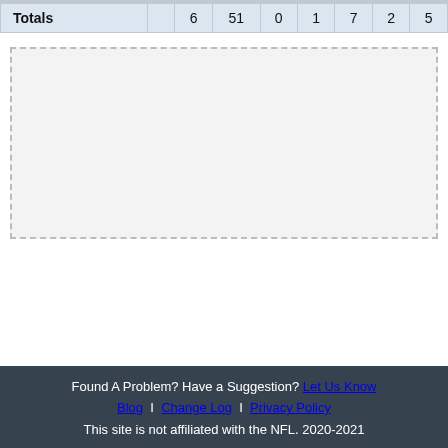|  |  |  |  |  |  |  |  |  |
| --- | --- | --- | --- | --- | --- | --- | --- | --- |
| Totals |  | 6 | 51 | 0 | 1 | 7 | 2 | 5 |
[Figure (other): Empty dashed-border advertisement or placeholder box]
Found A Problem? Have a Suggestion? Let Us Know
Blog | Change Log | Privacy Policy
This site is not affiliated with the NFL. 2020-2021